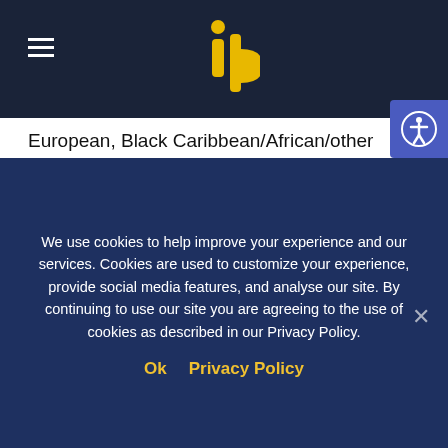ib logo header with hamburger menu
European, Black Caribbean/African/other black commun…
Faith Groups – Ultra orthodox Jewish, Muslim, Evangelical
Marginalised/inclusion groups – asylum seekers and the homeless population
MORE INFORMATION
We use cookies to help improve your experience and our services. Cookies are used to customize your experience, provide social media features, and analyse our site. By continuing to use our site you are agreeing to the use of cookies as described in our Privacy Policy.
Ok   Privacy Policy